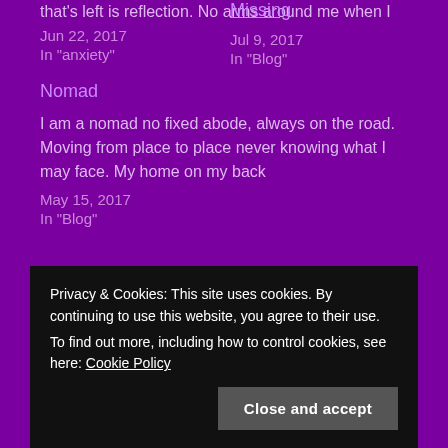that's left is reflection. No arms around me when I
Jun 22, 2017
In "anxiety"
Missing
Jul 9, 2017
In "Blog"
Nomad
I am a nomad no fixed abode, always on the road. Moving from place to place never knowing what I may face. My home on my back
May 15, 2017
In "Blog"
Privacy & Cookies: This site uses cookies. By continuing to use this website, you agree to their use.
To find out more, including how to control cookies, see here: Cookie Policy
Close and accept